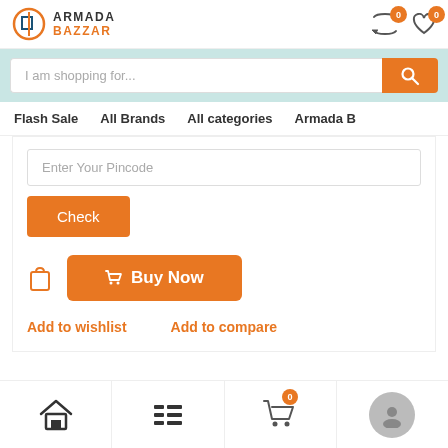ARMADA BAZZAR - header with cart and wishlist icons
I am shopping for...
Flash Sale   All Brands   All categories   Armada B
Enter Your Pincode
Check
Buy Now
Add to wishlist   Add to compare
Home | Menu | Cart (0) | Profile